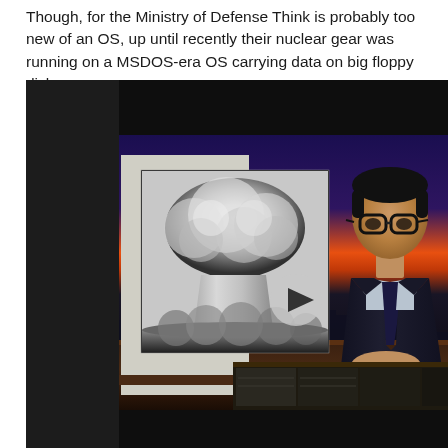Though, for the Ministry of Defense Think is probably too new of an OS, up until recently their nuclear gear was running on a MSDOS-era OS carrying data on big floppy disks..
[Figure (screenshot): A video screenshot of a TV show segment. On the left side is a white panel with a black-and-white photograph of a nuclear explosion mushroom cloud. Behind and to the right is a nighttime city skyline backdrop with purple/orange sky. On the right side a male TV host in a dark suit with glasses sits at a desk. A circular play button overlay is visible in the center-right area.]